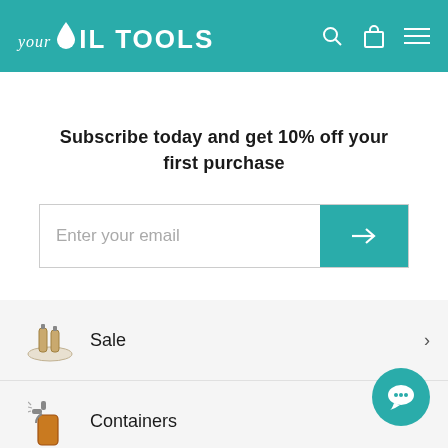your Oil TOOLS
Subscribe today and get 10% off your first purchase
Enter your email
Sale
Containers
DIY